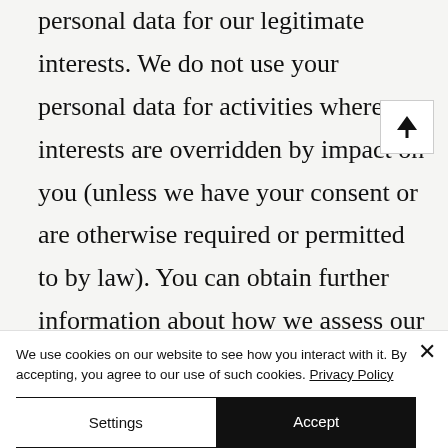personal data for our legitimate interests. We do not use your personal data for activities where our interests are overridden by impact on you (unless we have your consent or are otherwise required or permitted to by law). You can obtain further information about how we assess our legitimate interests against any potential impact on you in respect of specific
We use cookies on our website to see how you interact with it. By accepting, you agree to our use of such cookies. Privacy Policy